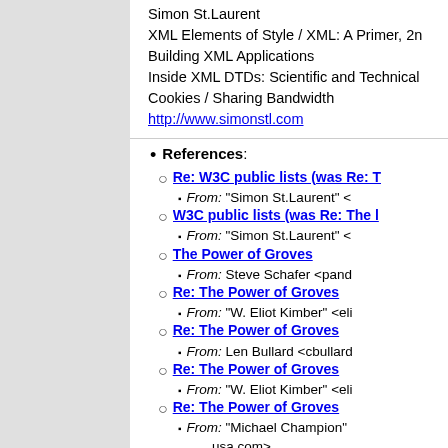maybe it's time for the overall process to g...
Simon St.Laurent
XML Elements of Style / XML: A Primer, 2n...
Building XML Applications
Inside XML DTDs: Scientific and Technical...
Cookies / Sharing Bandwidth
http://www.simonstl.com
References:
Re: W3C public lists (was Re: T...
From: "Simon St.Laurent" <...
W3C public lists (was Re: The l...
From: "Simon St.Laurent" <...
The Power of Groves
From: Steve Schafer <pand...
Re: The Power of Groves
From: "W. Eliot Kimber" <eli...
Re: The Power of Groves
From: Len Bullard <cbullard...
Re: The Power of Groves
From: "W. Eliot Kimber" <eli...
Re: The Power of Groves
From: "Michael Champion"...
usa.com>